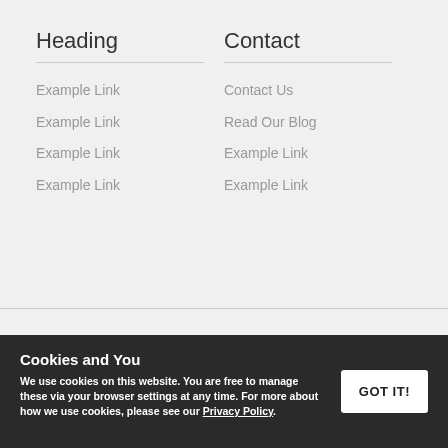Heading
Example Link
Example Link
Example Link
Example Link
Contact
Contact Us
Read Our Blog
Example Link
Example Link
[Figure (logo): Payment method logos: VISA, Mastercard, Maestro, PayPal]
Cookies and You
We use cookies on this website. You are free to manage these via your browser settings at any time. For more about how we use cookies, please see our Privacy Policy.